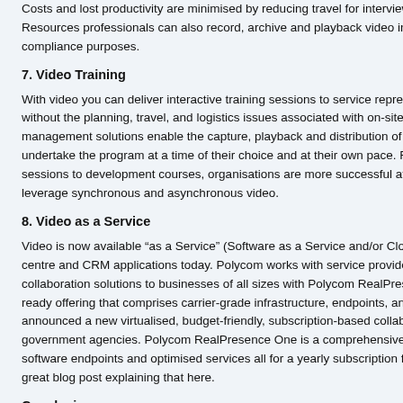Costs and lost productivity are minimised by reducing travel for interviewers. Resources professionals can also record, archive and playback video interviews for compliance purposes.
7. Video Training
With video you can deliver interactive training sessions to service representatives without the planning, travel, and logistics issues associated with on-site courses. Video management solutions enable the capture, playback and distribution of training so staff can undertake the program at a time of their choice and at their own pace. From live training sessions to development courses, organisations are more successful at building teams that leverage synchronous and asynchronous video.
8. Video as a Service
Video is now available “as a Service” (Software as a Service and/or Cloud-based) to contact centre and CRM applications today. Polycom works with service providers to deliver video collaboration solutions to businesses of all sizes with Polycom RealPresence One, a cloud-ready offering that comprises carrier-grade infrastructure, endpoints, and services. Polycom announced a new virtualised, budget-friendly, subscription-based collaboration solution for government agencies. Polycom RealPresence One is a comprehensive offering of hardware and software endpoints and optimised services all for a yearly subscription fee. Jeff Rodman has a great blog post explaining that here.
Conclusion
In the past, videoconferencing technology was limited to the conference room. Today it is social, browser-based, and available as a service or from the cloud. The increasing range of applications is evidenced by organisations and departments who have adopted the technology.